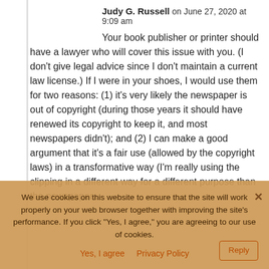Judy G. Russell on June 27, 2020 at 9:09 am
Your book publisher or printer should have a lawyer who will cover this issue with you. (I don't give legal advice since I don't maintain a current law license.) If I were in your shoes, I would use them for two reasons: (1) it's very likely the newspaper is out of copyright (during those years it should have renewed its copyright to keep it, and most newspapers didn't); and (2) I can make a good argument that it's a fair use (allowed by the copyright laws) in a transformative way (I'm really using the clipping in a different way for a different purpose than the newspaper...
We use cookies on this website to ensure that the site will work properly on your web browser together with improving the site's performance. If you click "Yes, I agree," you are agreeing to our use of cookies.